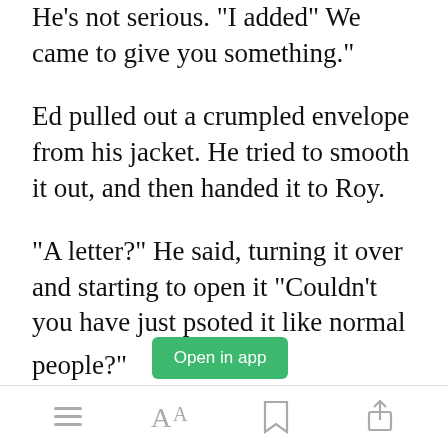He's not serious. "I added" We came to give you something."
Ed pulled out a crumpled envelope from his jacket. He tried to smooth it out, and then handed it to Roy.
"A letter?" He said, turning it over and starting to open it "Couldn't you have just psoted it like normal people?"
[Figure (screenshot): Green 'Open in app' button]
Bottom navigation bar with menu, font, bookmark, and share icons